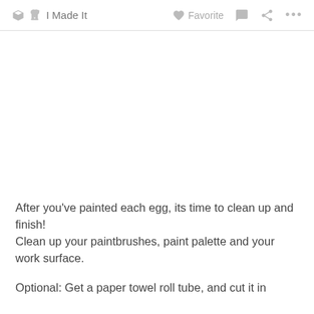I Made It   Favorite
[Figure (photo): White/blank image area where a photo would appear]
After you've painted each egg, its time to clean up and finish!
Clean up your paintbrushes, paint palette and your work surface.
Optional: Get a paper towel roll tube, and cut it in